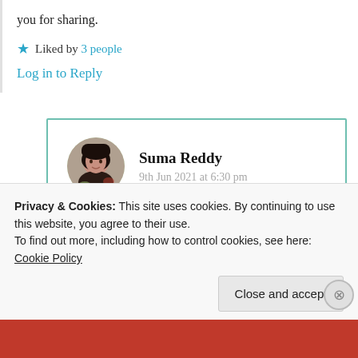you for sharing.
★ Liked by 3 people
Log in to Reply
Suma Reddy
9th Jun 2021 at 6:30 pm
Thank you very much for visiting n
Privacy & Cookies: This site uses cookies. By continuing to use this website, you agree to their use.
To find out more, including how to control cookies, see here: Cookie Policy
Close and accept